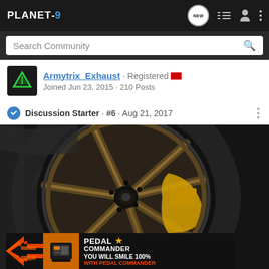PLANET-9 [navigation bar with NEW, list, user, menu icons]
Search Community
Armytrix_Exhaust · Registered
Joined Jun 23, 2015 · 210 Posts
Discussion Starter · #6 · Aug 21, 2017
[Figure (photo): Close-up photo of a bronze/dark spoke alloy wheel with yellow brake caliper visible, tire with Michelin branding on dark background]
[Figure (infographic): Pedal Commander advertisement banner: orange arrows graphic on left, orange product device image, PEDAL COMMANDER logo with star, text YOU WILL SMILE 100% WITH PEDAL COMMANDER in orange]